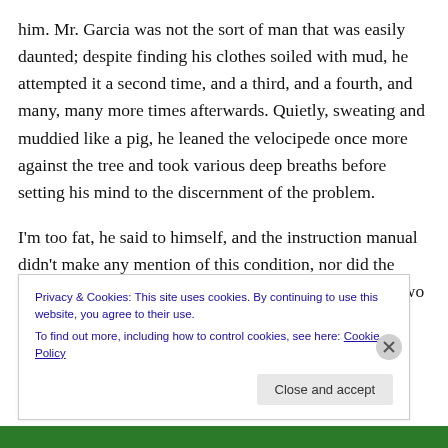him. Mr. Garcia was not the sort of man that was easily daunted; despite finding his clothes soiled with mud, he attempted it a second time, and a third, and a fourth, and many, many more times afterwards. Quietly, sweating and muddied like a pig, he leaned the velocipede once more against the tree and took various deep breaths before setting his mind to the discernment of the problem.
I'm too fat, he said to himself, and the instruction manual didn't make any mention of this condition, nor did the magazine advertisements or the brochures warn of it. Two
Privacy & Cookies: This site uses cookies. By continuing to use this website, you agree to their use.
To find out more, including how to control cookies, see here: Cookie Policy